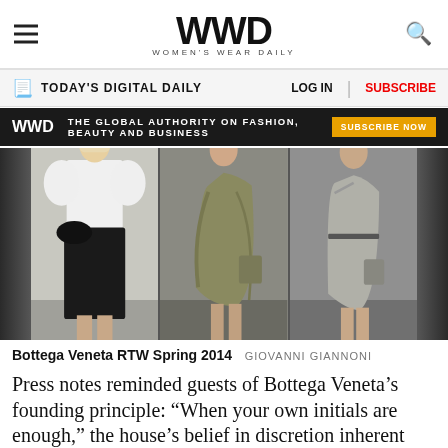WWD WOMEN'S WEAR DAILY
TODAY'S DIGITAL DAILY   LOG IN   SUBSCRIBE
[Figure (photo): WWD ad banner: THE GLOBAL AUTHORITY ON FASHION, BEAUTY AND BUSINESS — SUBSCRIBE NOW]
[Figure (photo): Three fashion runway photos from Bottega Veneta RTW Spring 2014. Left: model in white blouse and black skirt with large bow. Center: model in olive one-shoulder draped dress. Right: model in sleeveless grey dress with thin belt.]
Bottega Veneta RTW Spring 2014  GIOVANNI GIANNONI
Press notes reminded guests of Bottega Veneta's founding principle: “When your own initials are enough,” the house’s belief in discretion inherent therein. For spring, that discretion was limited to